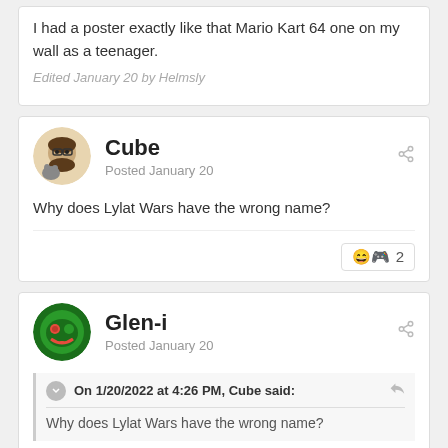I had a poster exactly like that Mario Kart 64 one on my wall as a teenager.
Edited January 20 by Helmsly
Cube
Posted January 20
Why does Lylat Wars have the wrong name?
Glen-i
Posted January 20
On 1/20/2022 at 4:26 PM, Cube said:
Why does Lylat Wars have the wrong name?